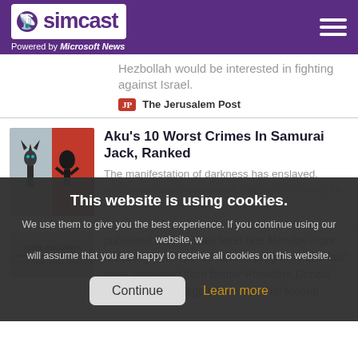simcast — Powered by Microsoft News
Hezbollah would be interested in fighting against Israel.
The Jerusalem Post
Aku's 10 Worst Crimes In Samurai Jack, Ranked
The manifestation of darkness has enslaved, butchered, and manipulated millions into doing his bidding, and only Jack can stop him.
[Figure (photo): Thumbnail image from Samurai Jack article showing animated characters Aku and Jack]
This website is using cookies. We use them to give you the best experience. If you continue using our website, we will assume that you are happy to receive all cookies on this website.
Continue  Learn more
[Figure (photo): Thumbnail showing John Solomon text/logo]
published a bombshell letter late Monday night revealing that “special access program materials” were recovered from former President Donald Trump’s Mar-a-Lago estate and that federal